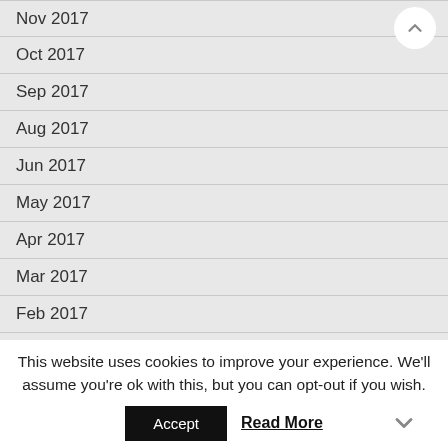Nov 2017
Oct 2017
Sep 2017
Aug 2017
Jun 2017
May 2017
Apr 2017
Mar 2017
Feb 2017
Nov 2016
This website uses cookies to improve your experience. We'll assume you're ok with this, but you can opt-out if you wish.
Accept
Read More